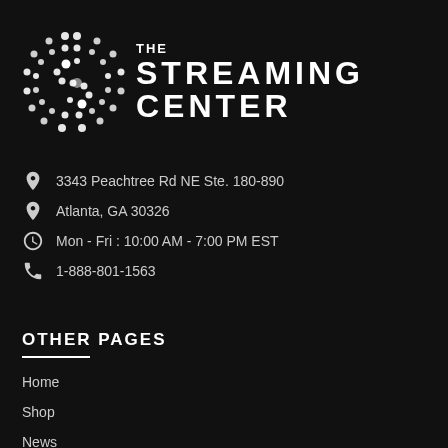[Figure (logo): The Streaming Center logo with circular dot-pattern icon and text 'THE STREAMING CENTER']
3343 Peachtree Rd NE Ste. 180-890
Atlanta, GA 30326
Mon - Fri : 10:00 AM - 7:00 PM EST
1-888-801-1563
OTHER PAGES
Home
Shop
News